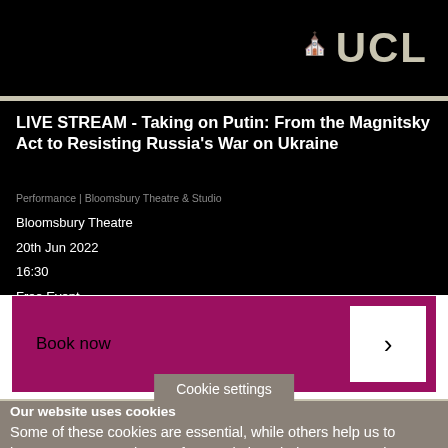[Figure (logo): UCL university logo with tower icon and text UCL in large letters on black background]
LIVE STREAM - Taking on Putin: From the Magnitsky Act to Resisting Russia's War on Ukraine
Performance | Bloomsbury Theatre & Studio
Bloomsbury Theatre
20th Jun 2022
16:30
Free Event
Book now →
Cookie settings
Our website uses cookies
Some of these cookies are essential, while others help us to improve your experience of our website. Find out more: Privacy Policy (opens in new window)